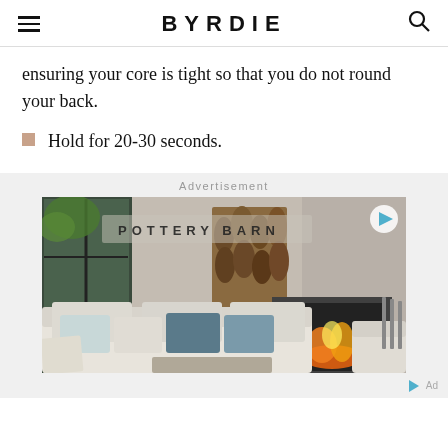BYRDIE
ensuring your core is tight so that you do not round your back.
Hold for 20-30 seconds.
Advertisement
[Figure (photo): Pottery Barn advertisement showing a cozy living room with white sectional sofa, blue and teal throw pillows, a fireplace, and stacked firewood in background. Pottery Barn logo overlaid on image with a video play button.]